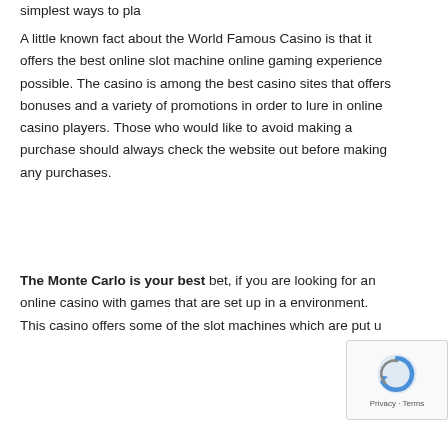simplest ways to pla
A little known fact about the World Famous Casino is that it offers the best online slot machine online gaming experience possible. The casino is among the best casino sites that offers bonuses and a variety of promotions in order to lure in online casino players. Those who would like to avoid making a purchase should always check the website out before making any purchases.
The Monte Carlo is your best bet, if you are looking for an online casino with games that are set up in a environment. This casino offers some of the slot machines which are put u
[Figure (other): Google reCAPTCHA badge with logo and Privacy - Terms text]